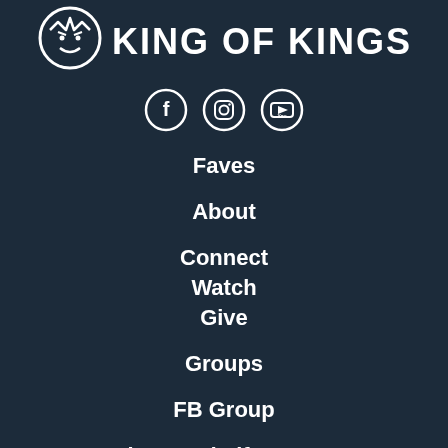KING OF KINGS
[Figure (logo): Social media icons: Facebook, Instagram, YouTube in white circles]
Faves
About
Connect
Watch
Give
Groups
FB Group
The Good Life Group
Small Groups